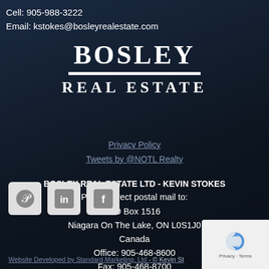Cell: 905-988-3222
Email: kstokes@bosleyrealestate.com
[Figure (logo): Bosley Real Estate logo with large BOSLEY text, horizontal white divider, and REAL ESTATE text below]
Privacy Policy
Tweets by @NOTL Realty
BOSLEY REAL ESTATE LTD - KEVIN STOKES
Please direct postal mail to:
PO Box 1516
Niagara On The Lake, ON L0S1J0
Canada
Office: 905-468-8600
Fax: 905-468-8700
[Figure (illustration): Social media icons: Pinterest, LinkedIn, Facebook]
Website Developed by Standard Marketing, Ltd - © Kevin St...